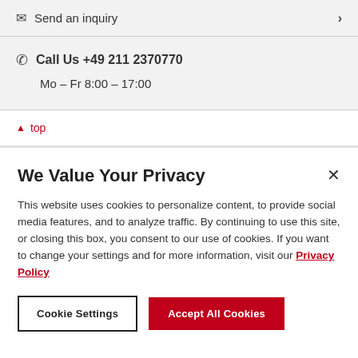✉ Send an inquiry ›
✆ Call Us +49 211 2370770
Mo – Fr 8:00 – 17:00
↑ top
We Value Your Privacy
This website uses cookies to personalize content, to provide social media features, and to analyze traffic. By continuing to use this site, or closing this box, you consent to our use of cookies. If you want to change your settings and for more information, visit our Privacy Policy
Cookie Settings
Accept All Cookies